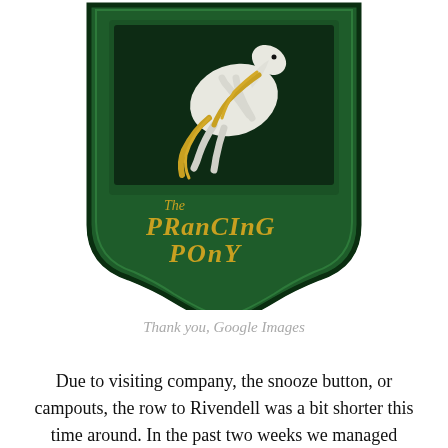[Figure (illustration): A green pub sign shaped like a shield/plaque with a white rearing horse and golden mane, reading 'The Prancing Pony' in gold fantasy lettering on a dark green background.]
Thank you, Google Images
Due to visiting company, the snooze button, or campouts, the row to Rivendell was a bit shorter this time around. In the past two weeks we managed together to row 19.62 miles. Adding